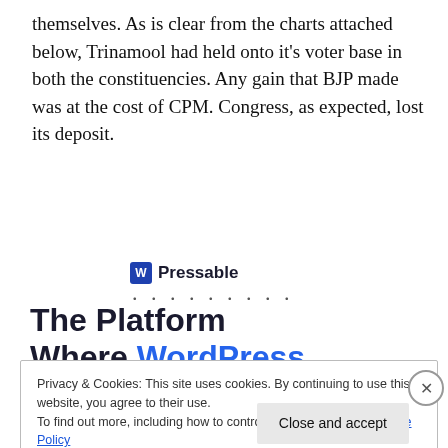themselves. As is clear from the charts attached below, Trinamool had held onto it's voter base in both the constituencies. Any gain that BJP made was at the cost of CPM. Congress, as expected, lost its deposit.
[Figure (logo): Pressable logo with WordPress icon and dotted line separator]
The Platform Where WordPress Works Best
Privacy & Cookies: This site uses cookies. By continuing to use this website, you agree to their use.
To find out more, including how to control cookies, see here: Cookie Policy
Close and accept